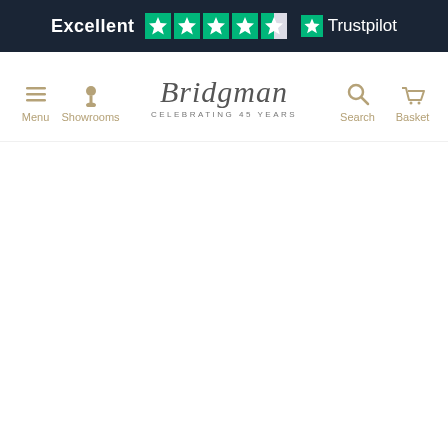[Figure (screenshot): Trustpilot banner with 'Excellent' rating, 4.5 green stars, and Trustpilot logo on dark navy background]
Menu | Showrooms | Bridgman CELEBRATING 45 YEARS | Search | Basket